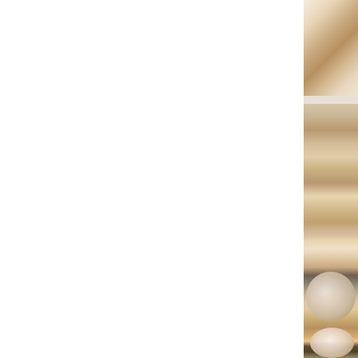[Figure (photo): A photograph showing wooden surfaces and objects on the right edge of the page. The image appears to show stacked wooden items or planks with natural wood grain texture in warm brown and tan tones, partially cut off at the right margin. There is a circular or oval shaped object visible in the lower portion of the strip. The left and center of the page is predominantly white/blank.]